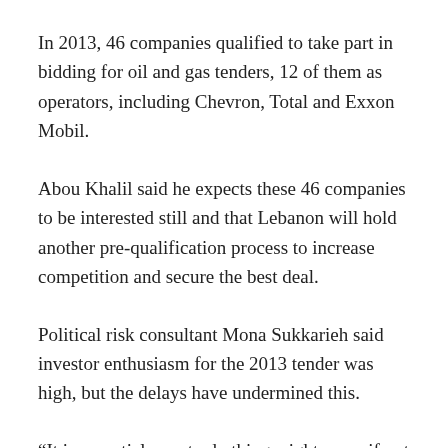In 2013, 46 companies qualified to take part in bidding for oil and gas tenders, 12 of them as operators, including Chevron, Total and Exxon Mobil.
Abou Khalil said he expects these 46 companies to be interested still and that Lebanon will hold another pre-qualification process to increase competition and secure the best deal.
Political risk consultant Mona Sukkarieh said investor enthusiasm for the 2013 tender was high, but the delays have undermined this.
“It is essential now to do things right, even if not